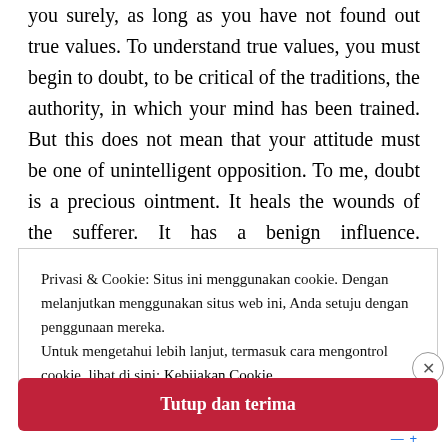you surely, as long as you have not found out true values. To understand true values, you must begin to doubt, to be critical of the traditions, the authority, in which your mind has been trained. But this does not mean that your attitude must be one of unintelligent opposition. To me, doubt is a precious ointment. It heals the wounds of the sufferer. It has a benign influence. Understanding comes only when you doubt, not for the purpose of further acquisition or
Privasi & Cookie: Situs ini menggunakan cookie. Dengan melanjutkan menggunakan situs web ini, Anda setuju dengan penggunaan mereka.
Untuk mengetahui lebih lanjut, termasuk cara mengontrol cookie, lihat di sini: Kebijakan Cookie
Tutup dan terima